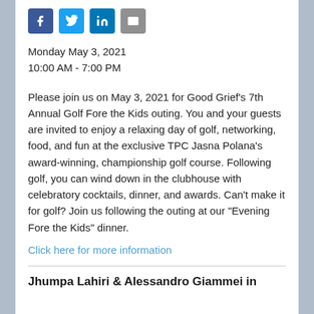[Figure (other): Four social media icon buttons: Facebook (blue), Twitter (light blue), LinkedIn (dark blue), Email (gray)]
Monday May 3, 2021
10:00 AM - 7:00 PM
Please join us on May 3, 2021 for Good Grief’s 7th Annual Golf Fore the Kids outing. You and your guests are invited to enjoy a relaxing day of golf, networking, food, and fun at the exclusive TPC Jasna Polana’s award-winning, championship golf course. Following golf, you can wind down in the clubhouse with celebratory cocktails, dinner, and awards. Can’t make it for golf? Join us following the outing at our “Evening Fore the Kids” dinner.
Click here for more information
Jhumpa Lahiri & Alessandro Giammei in